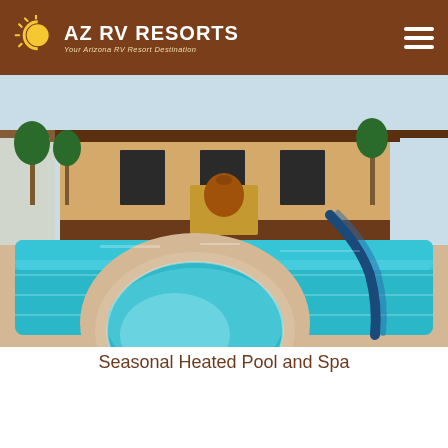AZ RV RESORTS - Your Arizona RV Resort Destination
[Figure (photo): Outdoor swimming pool and circular hot tub/spa at an RV resort. The spa is in the foreground with a blue metal handrail. The large pool is behind it with lounge chairs arranged around the deck. A Southwest-style clubhouse building is visible in the background with palm trees.]
Seasonal Heated Pool and Spa